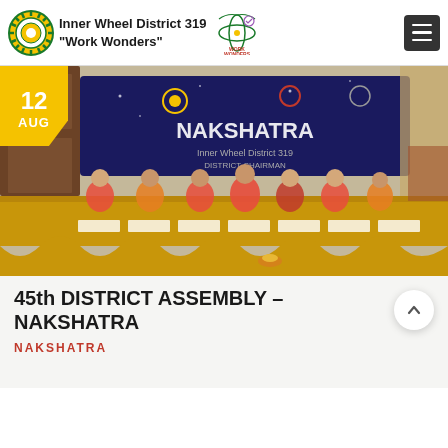Inner Wheel District 319 "Work Wonders"
[Figure (photo): Group photo at the 45th District Assembly – NAKSHATRA event, showing women seated at a decorated table with a banner reading 'NAKSHATRA Inner Wheel District 319 District Chairman' in the background.]
45th DISTRICT ASSEMBLY – NAKSHATRA
NAKSHATRA